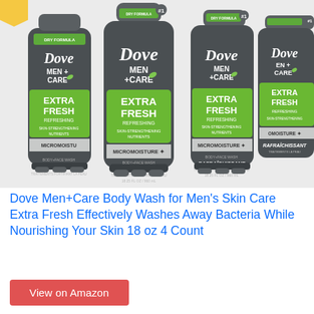[Figure (photo): Four Dove Men+Care Extra Fresh body wash bottles (18 oz each) arranged side by side against a light grey background. Each grey bottle features green label with 'EXTRA FRESH' text, 'MEN+CARE' branding, and 'MICROMOISTURE' at the bottom.]
Dove Men+Care Body Wash for Men's Skin Care Extra Fresh Effectively Washes Away Bacteria While Nourishing Your Skin 18 oz 4 Count
View on Amazon